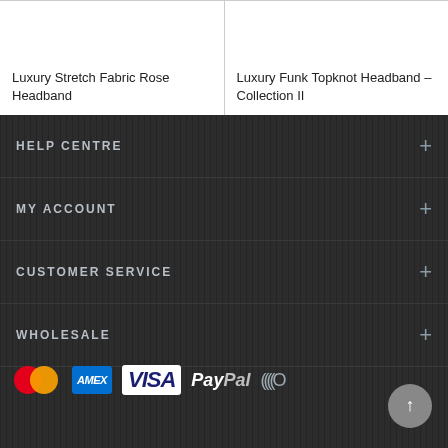Luxury Stretch Fabric Rose Headband
Luxury Funk Topknot Headband – Collection II
HELP CENTRE
MY ACCOUNT
CUSTOMER SERVICE
WHOLESALE
[Figure (logo): Payment icons: MasterCard, American Express, Visa, PayPal, Verified by Visa/Mastercard SecureCode]
[Figure (other): Scroll-to-top button with arrow icon]